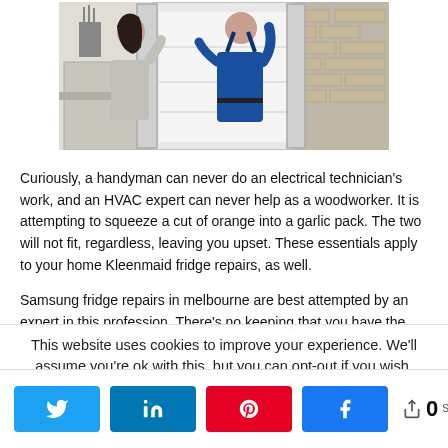[Figure (photo): A woman in a grey sweater standing next to an open refrigerator while a technician in blue coveralls works on the fridge from behind, in a kitchen setting with brick wall visible.]
Curiously, a handyman can never do an electrical technician's work, and an HVAC expert can never help as a woodworker. It is attempting to squeeze a cut of orange into a garlic pack. The two will not fit, regardless, leaving you upset. These essentials apply to your home Kleenmaid fridge repairs, as well.
Samsung fridge repairs in melbourne are best attempted by an expert in this profession. There's no keeping that you have the
This website uses cookies to improve your experience. We'll assume you're ok with this, but you can opt-out if you wish.